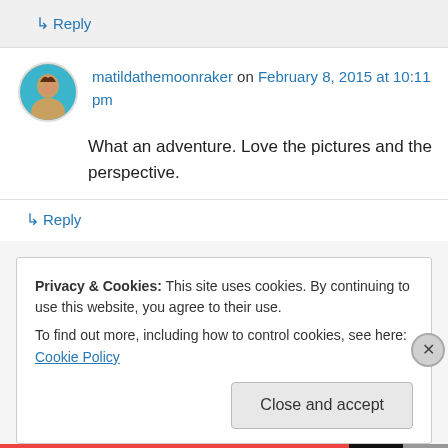↳ Reply
matildathemoonraker on February 8, 2015 at 10:11 pm
What an adventure. Love the pictures and the perspective.
↳ Reply
Privacy & Cookies: This site uses cookies. By continuing to use this website, you agree to their use. To find out more, including how to control cookies, see here: Cookie Policy
Close and accept